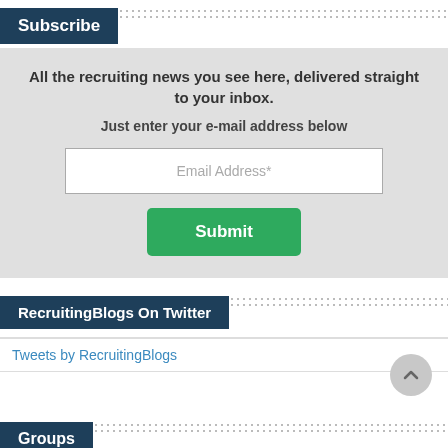Subscribe
All the recruiting news you see here, delivered straight to your inbox.

Just enter your e-mail address below
Email Address*
Submit
RecruitingBlogs On Twitter
Tweets by RecruitingBlogs
Groups